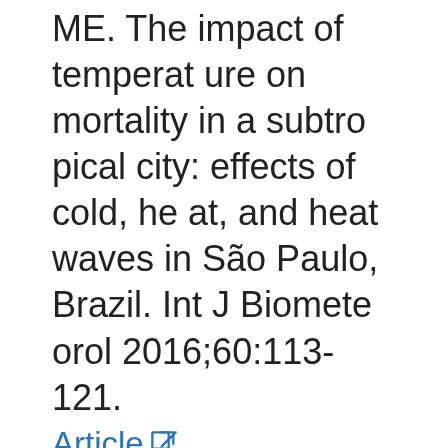ME. The impact of temperature on mortality in a subtropical city: effects of cold, heat, and heat waves in São Paulo, Brazil. Int J Biometeorol 2016;60:113-121.
Article [external link]
33. Seposo XT, Dang TN, Honda Y. Effect modification in the temperature extremes by mortality subgroups among the tropical cities of the